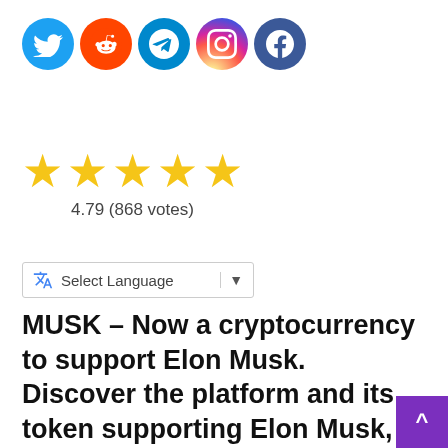[Figure (logo): Five social media icons in circles: Twitter (blue bird), Reddit (orange alien), Telegram (blue paper plane), Instagram (gradient camera), Facebook (dark blue f)]
[Figure (infographic): Five gold/yellow stars rating display with text '4.79 (868 votes)' below]
[Figure (other): Google Translate widget with 'Select Language' dropdown button]
MUSK – Now a cryptocurrency to support Elon Musk. Discover the platform and its token supporting Elon Musk, take advantage of a huge upside potential.